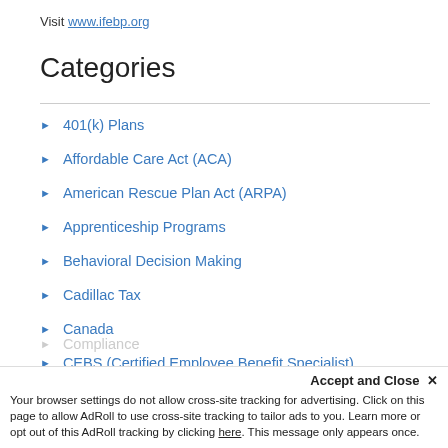Visit www.ifebp.org
Categories
401(k) Plans
Affordable Care Act (ACA)
American Rescue Plan Act (ARPA)
Apprenticeship Programs
Behavioral Decision Making
Cadillac Tax
Canada
CEBS (Certified Employee Benefit Specialist)
Communication
Compliance
Accept and Close ✕
Your browser settings do not allow cross-site tracking for advertising. Click on this page to allow AdRoll to use cross-site tracking to tailor ads to you. Learn more or opt out of this AdRoll tracking by clicking here. This message only appears once.